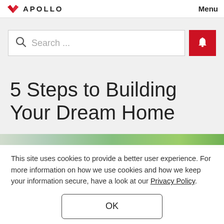APOLLO  Menu
[Figure (screenshot): Search bar with magnifying glass icon and red bell/notification button]
5 Steps to Building Your Dream Home
[Figure (photo): Partial view of a house with greenery]
This site uses cookies to provide a better user experience. For more information on how we use cookies and how we keep your information secure, have a look at our Privacy Policy.
OK